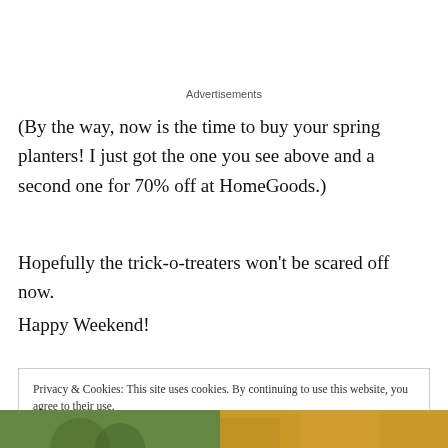Advertisements
(By the way, now is the time to buy your spring planters! I just got the one you see above and a second one for 70% off at HomeGoods.)
Hopefully the trick-o-treaters won't be scared off now.
Happy Weekend!
Privacy & Cookies: This site uses cookies. By continuing to use this website, you agree to their use.
To find out more, including how to control cookies, see here: Cookie Policy
Close and accept
[Figure (photo): Partial view of a photo showing green and yellow/orange colors at the bottom of the page]